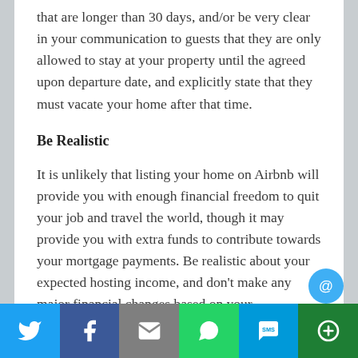that are longer than 30 days, and/or be very clear in your communication to guests that they are only allowed to stay at your property until the agreed upon departure date, and explicitly state that they must vacate your home after that time.
Be Realistic
It is unlikely that listing your home on Airbnb will provide you with enough financial freedom to quit your job and travel the world, though it may provide you with extra funds to contribute towards your mortgage payments. Be realistic about your expected hosting income, and don't make any major financial changes based on your
[Figure (infographic): Social sharing bar at the bottom with Twitter, Facebook, Email, WhatsApp, SMS, and More buttons]